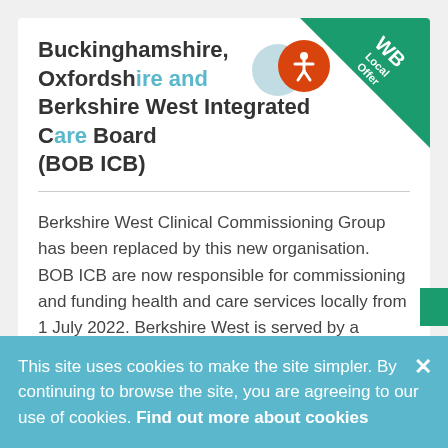Buckinghamshire, Oxfordshire and Berkshire West Integrated Care Board (BOB ICB)
Berkshire West Clinical Commissioning Group has been replaced by this new organisation.  BOB ICB are now responsible for commissioning and funding health and care services locally from 1 July 2022. Berkshire West is served by a variety of hospitals including Royal Berkshire Hospital in Reading,...
0118 950 3094
This site uses cookies to make the site simpler. By continuing to browse the site, you are agreeing to our use of cookies. Find out more about cookies